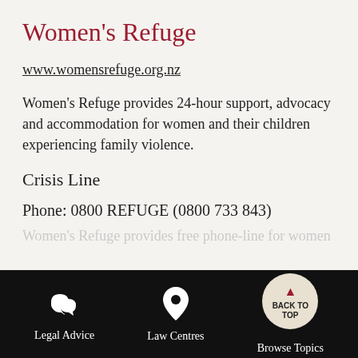Women’s Refuge
www.womensrefuge.org.nz
Women’s Refuge provides 24-hour support, advocacy and accommodation for women and their children experiencing family violence.
Crisis Line
Phone: 0800 REFUGE (0800 733 843)
Women’s Refuge provides free phone-line for...
Find the Answer to your Legal Question
Search the Community Law Manual...
Legal Advice | Law Centres | Browse Topics | BACK TO TOP